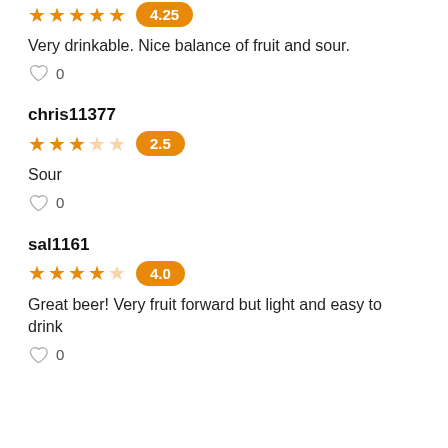[Figure (other): Star rating: 4.25 out of 5, 4 and a half orange stars with badge showing 4.25]
Very drinkable. Nice balance of fruit and sour.
♡ 0
chris11377
[Figure (other): Star rating: 2.5 out of 5, 2.5 orange stars with badge showing 2.5]
Sour
♡ 0
sal1161
[Figure (other): Star rating: 4.0 out of 5, 4 orange stars with badge showing 4.0]
Great beer! Very fruit forward but light and easy to drink
♡ 0